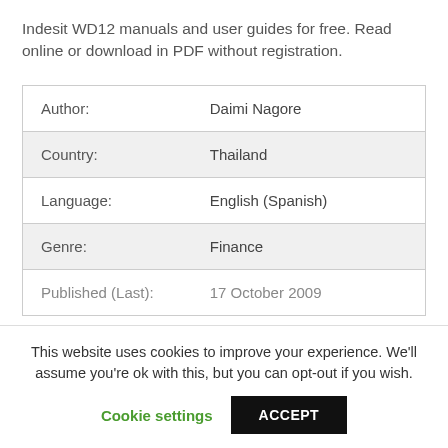Indesit WD12 manuals and user guides for free. Read online or download in PDF without registration.
| Author: | Daimi Nagore |
| Country: | Thailand |
| Language: | English (Spanish) |
| Genre: | Finance |
| Published (Last): | 17 October 2009 |
This website uses cookies to improve your experience. We'll assume you're ok with this, but you can opt-out if you wish.